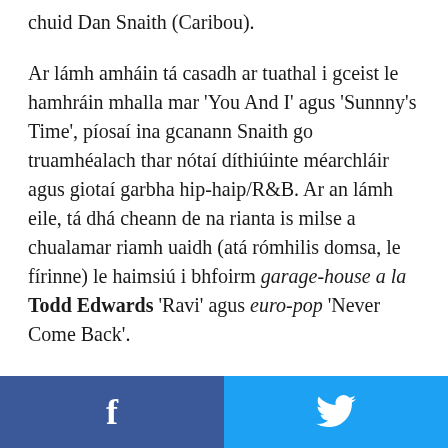chuid Dan Snaith (Caribou).
Ar lámh amháin tá casadh ar tuathal i gceist le hamhráin mhalla mar 'You And I' agus 'Sunnny's Time', píosaí ina gcanann Snaith go truamhéalach thar nótaí díthiúinte méarchláir agus giotaí garbha hip-haip/R&B. Ar an lámh eile, tá dhá cheann de na rianta is milse a chualamar riamh uaidh (atá rómhilis domsa, le fírinne) le haimsiú i bhfoirm garage-house a la Todd Edwards 'Ravi' agus euro-pop 'Never Come Back'.
An toradh ná albam nach mbeadh fonn ort éisteacht leis ó thús deireadh ach a bheidh rianta áirithe uaidh le haimsiú ar na mílte seinnliostaí Spotify
[Figure (other): Social media sharing buttons: Facebook (blue, left) and Twitter (light blue, right)]